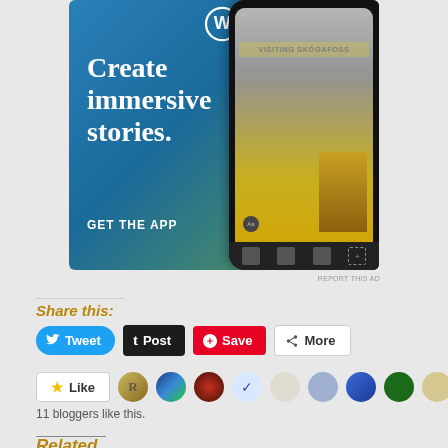[Figure (illustration): WordPress advertisement banner: 'Create immersive stories. GET THE APP' with phone mockup showing waterfall photo with 'VISITING SKÓGAFOSS' overlay]
REPORT THIS AD
Share this:
Tweet
Post
Save
More
Like · 11 bloggers like this.
Related